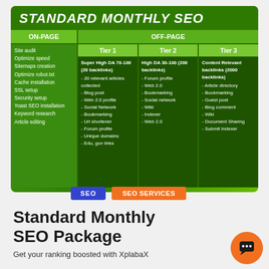STANDARD MONTHLY SEO
| ON-PAGE | Tier 1 | Tier 2 | Tier 3 |
| --- | --- | --- | --- |
| Site audit
Optimize speed
Sitemaps creation
Optimize robot.txt
Cache installation
SSL setup
Security setup
Yoast SEO installation
Keyword research
Article editing | Super High DA 70-100 (20 backlinks)
- 20 relevant articles collected
- Blog post
- Web 2.0 profile
- Social Network
- Bookmarking
- Url shortener
- Forum profile
- Unique domains
- Edu, gov links | High DA 30-100 (200 backlinks)
- Forum profile
- Web 2.0
- Bookmarking
- Social network
- Wiki
- Indexer
- Web 2.0 | Content Relevant backlinks (2000 backlinks)
- Article directory
- Bookmarking
- Guest post
- Blog comment
- Wiki
- Document Sharing
- Submit Indexer |
SEO
SEO SERVICES
Standard Monthly SEO Package
Get your ranking boosted with XplabaX